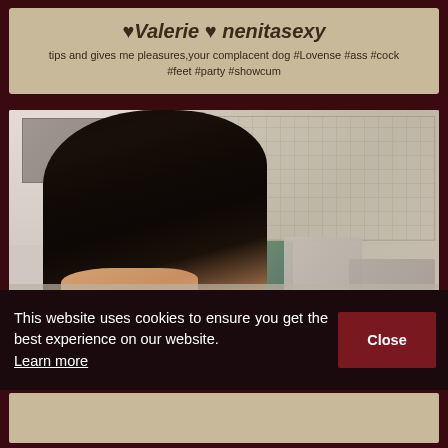♥Valerie ♥ nenitasexy
tips and gives me pleasures,your complacent dog #Lovense #ass #cock #feet #party #showcum
[Figure (photo): Webcam stream showing a woman with long dark hair looking down, in a bedroom setting with a tufted headboard, colorful pillows, and a framed picture on the wall.]
This website uses cookies to ensure you get the best experience on our website. Learn more